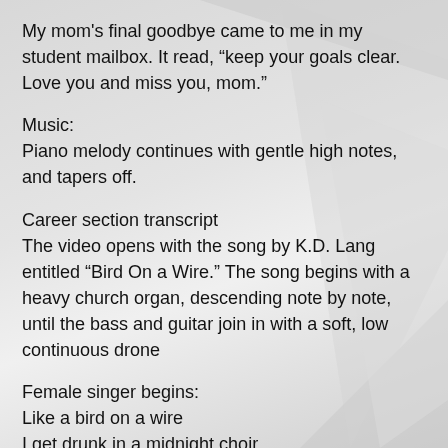My mom's final goodbye came to me in my student mailbox. It read, “keep your goals clear. Love you and miss you, mom.”
Music:
Piano melody continues with gentle high notes, and tapers off.
Career section transcript
The video opens with the song by K.D. Lang entitled “Bird On a Wire.” The song begins with a heavy church organ, descending note by note, until the bass and guitar join in with a soft, low continuous drone
Female singer begins:
Like a bird on a wire
I get drunk in a midnight choir
I’ve tried in my way
To be free